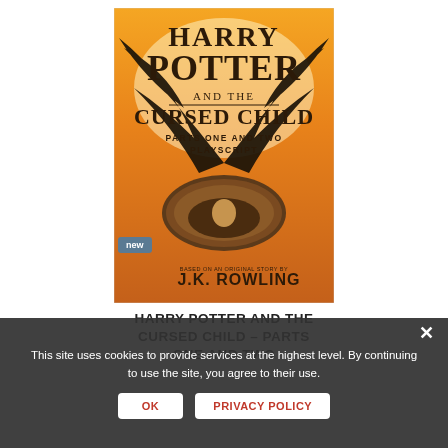[Figure (illustration): Book cover of Harry Potter and the Cursed Child - Parts One and Two Playscript by J.K. Rowling. Orange/yellow background with large black wings spreading out, a bird's nest in the center with a small figure inside, and the title text in dark brown/black lettering. A 'new' badge appears in the lower left of the cover.]
HARRY POTTER AND THE CURSED CHILD – PARTS ONE AND TWO
This site uses cookies to provide services at the highest level. By continuing to use the site, you agree to their use.
OK   PRIVACY POLICY